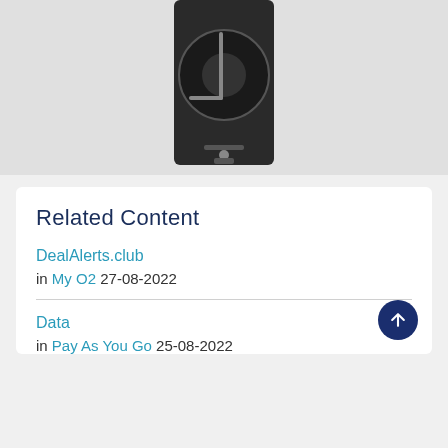[Figure (photo): A dark electronic device (possibly a portable media player or disk drive) with a circular element and metal handle/bar, photographed against a light background.]
Related Content
DealAlerts.club
in My O2 27-08-2022
Data
in Pay As You Go 25-08-2022